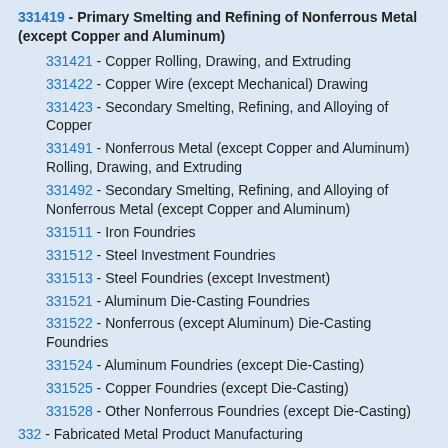331419 - Primary Smelting and Refining of Nonferrous Metal (except Copper and Aluminum)
331421 - Copper Rolling, Drawing, and Extruding
331422 - Copper Wire (except Mechanical) Drawing
331423 - Secondary Smelting, Refining, and Alloying of Copper
331491 - Nonferrous Metal (except Copper and Aluminum) Rolling, Drawing, and Extruding
331492 - Secondary Smelting, Refining, and Alloying of Nonferrous Metal (except Copper and Aluminum)
331511 - Iron Foundries
331512 - Steel Investment Foundries
331513 - Steel Foundries (except Investment)
331521 - Aluminum Die-Casting Foundries
331522 - Nonferrous (except Aluminum) Die-Casting Foundries
331524 - Aluminum Foundries (except Die-Casting)
331525 - Copper Foundries (except Die-Casting)
331528 - Other Nonferrous Foundries (except Die-Casting)
332 - Fabricated Metal Product Manufacturing
333 - Machinery Manufacturing
334 - Computer and Electronic Product Manufacturing
335 - Electrical Equipment, Appliance, and Component